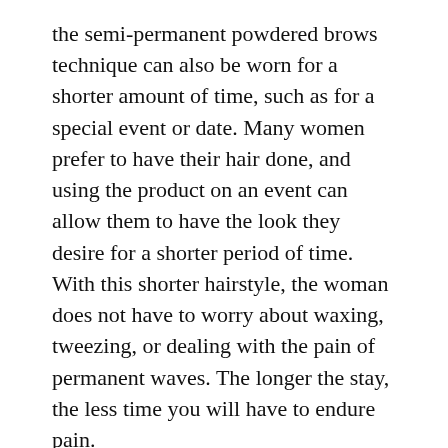the semi-permanent powdered brows technique can also be worn for a shorter amount of time, such as for a special event or date. Many women prefer to have their hair done, and using the product on an event can allow them to have the look they desire for a shorter period of time. With this shorter hairstyle, the woman does not have to worry about waxing, tweezing, or dealing with the pain of permanent waves. The longer the stay, the less time you will have to endure pain.
It is important to know that the appearance of your ombre powder brows will vary from person to person. Your skin type, your lifestyle, and even your diet all play a role in how long your